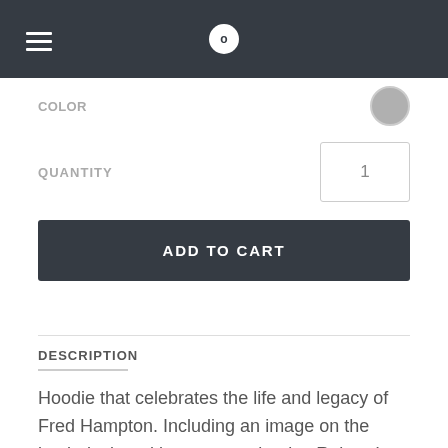[Figure (screenshot): Navigation bar with hamburger menu icon on the left, circular cart badge (showing 0) in the center, on a dark background]
COLOR
QUANTITY
ADD TO CART
DESCRIPTION
Hoodie that celebrates the life and legacy of Fred Hampton. Including an image on the back designed by esteemed artist, Robert L Almond IV. Includes a Fred